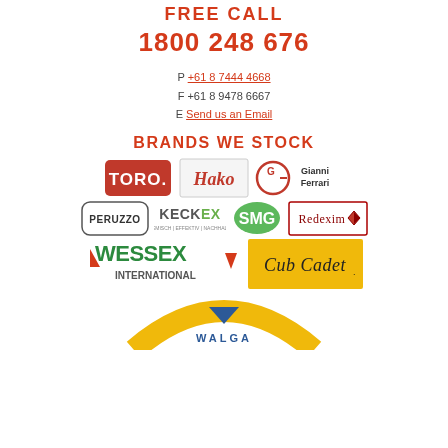FREE CALL
1800 248 676
P +61 8 7444 4668
F +61 8 9478 6667
E Send us an Email
BRANDS WE STOCK
[Figure (logo): Brand logos: Toro, Hako, Gianni Ferrari, Peruzzo, Keckex, SMG, Redexim, Wessex International, Cub Cadet, WALGA]
[Figure (logo): WALGA logo (partially visible)]